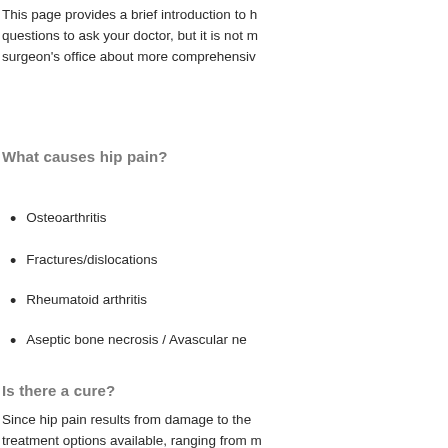This page provides a brief introduction to hip pain and questions to ask your doctor, but it is not meant to replace a surgeon's office about more comprehensive information.
What causes hip pain?
Osteoarthritis
Fractures/dislocations
Rheumatoid arthritis
Aseptic bone necrosis / Avascular ne...
Is there a cure?
Since hip pain results from damage to the joint, there are treatment options available, ranging from m...
How do I know if I need a hip replac...